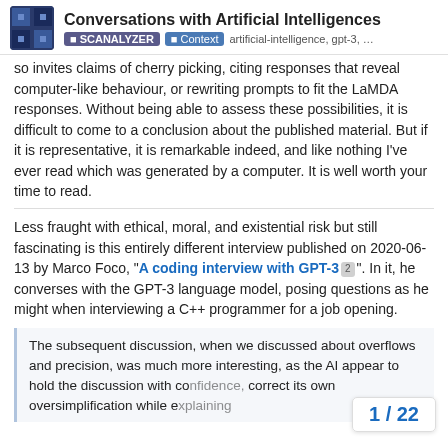Conversations with Artificial Intelligences | SCANALYZER | Context | artificial-intelligence, gpt-3, ...
so invites claims of cherry picking, citing responses that reveal computer-like behaviour, or rewriting prompts to fit the LaMDA responses. Without being able to assess these possibilities, it is difficult to come to a conclusion about the published material. But if it is representative, it is remarkable indeed, and like nothing I’ve ever read which was generated by a computer. It is well worth your time to read.
Less fraught with ethical, moral, and existential risk but still fascinating is this entirely different interview published on 2020-06-13 by Marco Foco, “A coding interview with GPT-3 2”. In it, he converses with the GPT-3 language model, posing questions as he might when interviewing a C++ programmer for a job opening.
The subsequent discussion, when we discussed about overflows and precision, was much more interesting, as the AI appear to hold the discussion with co... correct its own oversimplification while e...
1 / 22